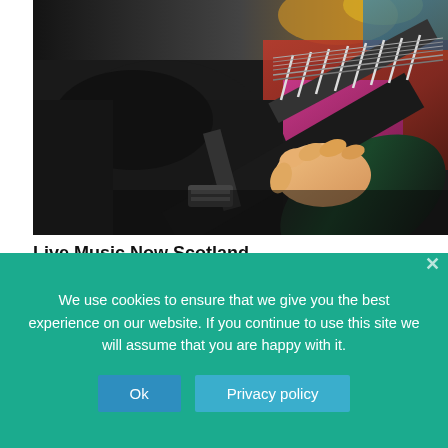[Figure (photo): Close-up photo of a person in a black hoodie playing an electric guitar on stage, with a colorful background.]
Live Music Now Scotland
[Figure (photo): Partial photo showing a blue tent or marquee outdoors.]
We use cookies to ensure that we give you the best experience on our website. If you continue to use this site we will assume that you are happy with it.